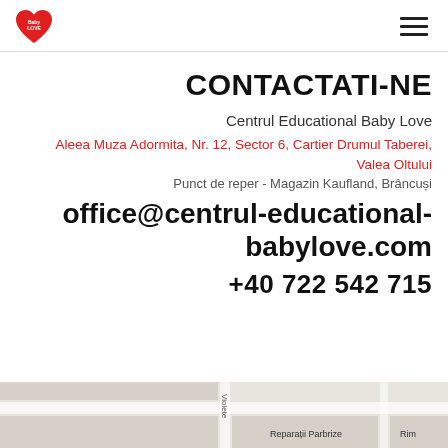Baby Love logo and navigation menu
CONTACTATI-NE
Centrul Educational Baby Love
Aleea Muza Adormita, Nr. 12, Sector 6, Cartier Drumul Taberei, Valea Oltului
Punct de reper - Magazin Kaufland, Brâncuși
office@centrul-educational-babylove.com
+40 722 542 715
[Figure (map): Street map snippet showing location near Reparații Parbrize and street Violete]